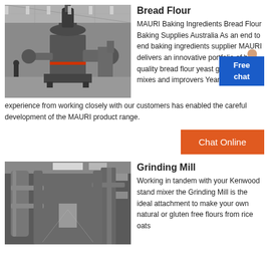[Figure (photo): Industrial grinding mill machine in a large factory with high ceiling]
Bread Flour
MAURI Baking Ingredients Bread Flour Baking Supplies Australia As an end to end baking ingredients supplier MAURI delivers an innovative portfolio of high quality bread flour yeast grains pre mixes and improvers Years of experience from working closely with our customers has enabled the careful development of the MAURI product range.
[Figure (illustration): Woman figure with Free chat speech bubble overlay]
Chat Online
[Figure (photo): Industrial milling or grinding facility interior with large pipes and machinery]
Grinding Mill
Working in tandem with your Kenwood stand mixer the Grinding Mill is the ideal attachment to make your own natural or gluten free flours from rice oats